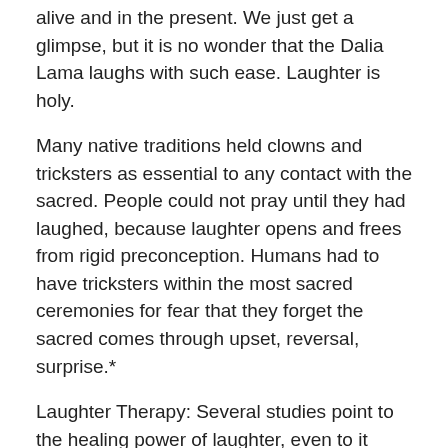alive and in the present. We just get a glimpse, but it is no wonder that the Dalia Lama laughs with such ease. Laughter is holy.
Many native traditions held clowns and tricksters as essential to any contact with the sacred. People could not pray until they had laughed, because laughter opens and frees from rigid preconception. Humans had to have tricksters within the most sacred ceremonies for fear that they forget the sacred comes through upset, reversal, surprise.*
Laughter Therapy: Several studies point to the healing power of laughter, even to it having an effect on serious conditions. Maybe, as Reader's Digest told us for years, Laughing is the best medicine!